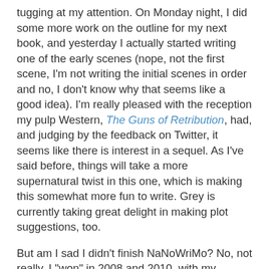tugging at my attention. On Monday night, I did some more work on the outline for my next book, and yesterday I actually started writing one of the early scenes (nope, not the first scene, I'm not writing the initial scenes in order and no, I don't know why that seems like a good idea). I'm really pleased with the reception my pulp Western, The Guns of Retribution, had, and judging by the feedback on Twitter, it seems like there is interest in a sequel. As I've said before, things will take a more supernatural twist in this one, which is making this somewhat more fun to write. Grey is currently taking great delight in making plot suggestions, too.
But am I sad I didn't finish NaNoWriMo? No, not really. I "won" in 2008 and 2010, with my Cavalier ghost story and superhero noir story respectively, so it seems that odd-numbered years just aren't my year when it comes to writing 50,000 words in a month. I always knew it was a long shot so I'm not going to beat myself up about it, especially since I've been spending this month settling into a new job, working on my teaching qualification, and really gearing up to do my PhD (which is coming along swimmingly, by the way). I know a lot of writers always say "Oh but no one